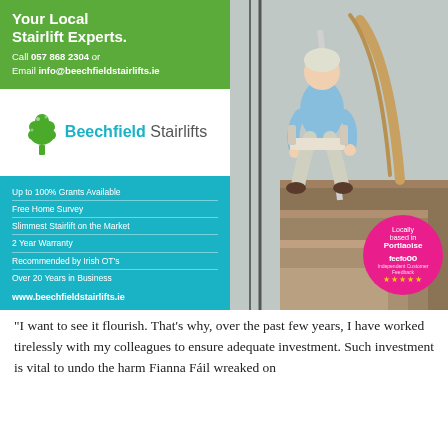Your Local Stairlift Experts.
Call 057 868 2304 or Email info@beechfieldstairlifts.ie
[Figure (logo): Beechfield Stairlifts logo with a green tree icon and teal/grey text]
[Figure (photo): Elderly woman with white hair seated on a stairlift on a staircase, smiling, wearing a light blue top and grey trousers]
Up to 100% Grants Available
Free Home Survey
Slimmest Stairlift on the Market
2 Year Warranty
Recommended by Irish OT's
Over 20 Years in Business
www.beechfieldstairlifts.ie
Locally based in Portlaoise
feefo ★★★★★
“I want to see it flourish. That’s why, over the past few years, I have worked tirelessly with my colleagues to ensure adequate investment. Such investment is vital to undo the harm Fianna Fáil wreaked on